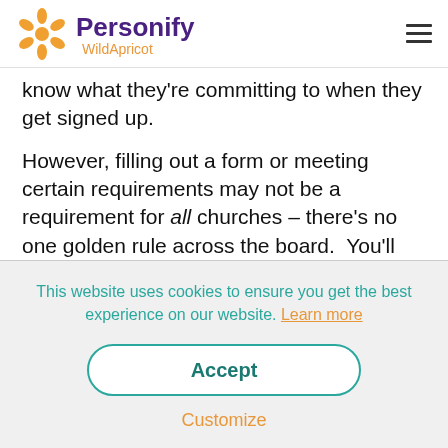[Figure (logo): Personify WildApricot logo with orange sunburst icon and purple/orange text]
know what they're committing to when they get signed up.
However, filling out a form or meeting certain requirements may not be a requirement for all churches – there's no one golden rule across the board.  You'll have to look at what is truly best for your organization.
This website uses cookies to ensure you get the best experience on our website. Learn more
Accept
Customize